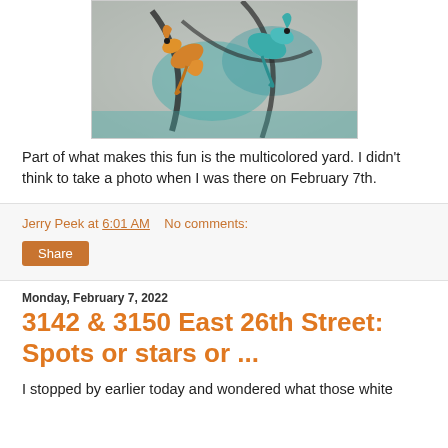[Figure (photo): Close-up photo of colorful metal art sculpture with orange and teal/blue dragon or lizard figures against a stone/gravel background]
Part of what makes this fun is the multicolored yard. I didn't think to take a photo when I was there on February 7th.
Jerry Peek at 6:01 AM   No comments:
Share
Monday, February 7, 2022
3142 & 3150 East 26th Street: Spots or stars or ...
I stopped by earlier today and wondered what those white